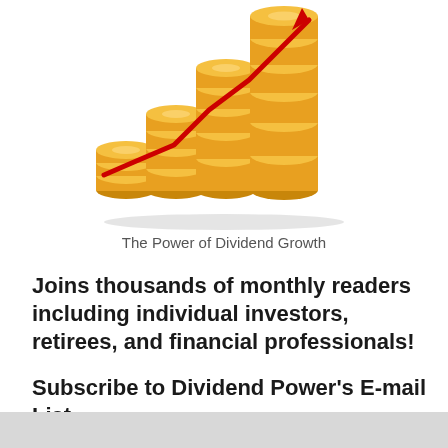[Figure (illustration): Stacked gold coins of increasing height with a red upward-trending arrow overlaid, representing dividend growth]
The Power of Dividend Growth
Joins thousands of monthly readers including individual investors, retirees, and financial professionals!
Subscribe to Dividend Power's E-mail List.